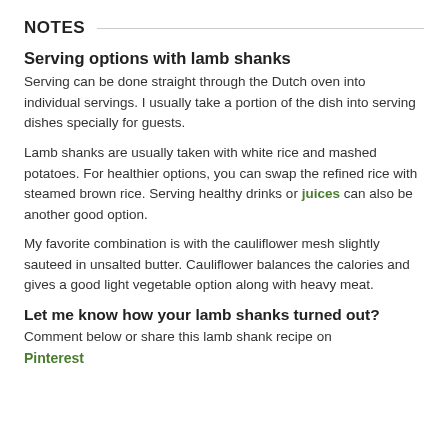NOTES
Serving options with lamb shanks
Serving can be done straight through the Dutch oven into individual servings. I usually take a portion of the dish into serving dishes specially for guests.
Lamb shanks are usually taken with white rice and mashed potatoes. For healthier options, you can swap the refined rice with steamed brown rice. Serving healthy drinks or juices can also be another good option.
My favorite combination is with the cauliflower mesh slightly sauteed in unsalted butter. Cauliflower balances the calories and gives a good light vegetable option along with heavy meat.
Let me know how your lamb shanks turned out?
Comment below or share this lamb shank recipe on Pinterest